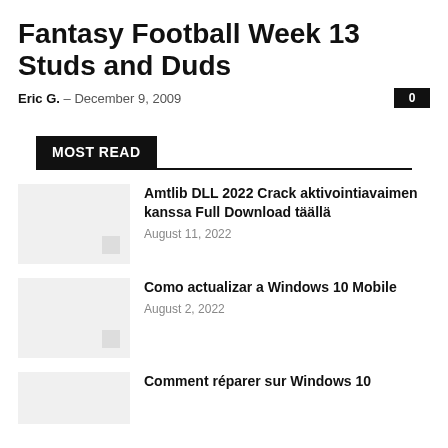Fantasy Football Week 13 Studs and Duds
Eric G. – December 9, 2009
MOST READ
Amtlib DLL 2022 Crack aktivointiavaimen kanssa Full Download täällä
August 11, 2022
Como actualizar a Windows 10 Mobile
August 2, 2022
Comment réparer sur Windows 10